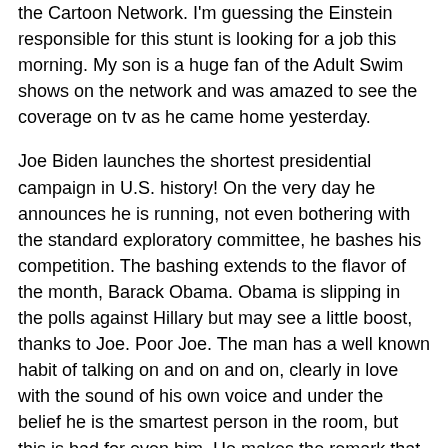the Cartoon Network. I'm guessing the Einstein responsible for this stunt is looking for a job this morning. My son is a huge fan of the Adult Swim shows on the network and was amazed to see the coverage on tv as he came home yesterday.
Joe Biden launches the shortest presidential campaign in U.S. history! On the very day he announces he is running, not even bothering with the standard exploratory committee, he bashes his competition. The bashing extends to the flavor of the month, Barack Obama. Obama is slipping in the polls against Hillary but may see a little boost, thanks to Joe. Poor Joe. The man has a well known habit of talking on and on and on, clearly in love with the sound of his own voice and under the belief he is the smartest person in the room, but this is bad for even him. He makes the remark that Obama is the first mainstream, articulate, 'clean' African American to run for president. Interesting adjectives. Articulate, yes, an Ivy League educated career politician would be, usually. Mainstream? No. One of the most liberal records in the Senate and the most liberal of all the Illinois legislature while there. What's the clean thing?